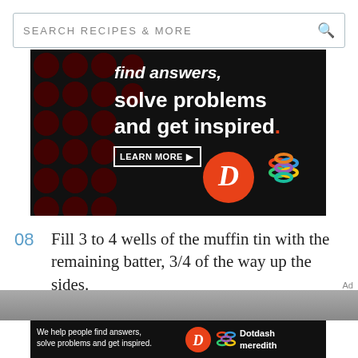[Figure (screenshot): Search bar with text SEARCH RECIPES & MORE and a magnifying glass icon]
[Figure (infographic): Dotdash Meredith advertisement banner on dark background with polka dot pattern. Text reads: find answers, solve problems and get inspired. LEARN MORE button. Shows D logo and Dotdash Meredith colorful lattice logo.]
08 Fill 3 to 4 wells of the muffin tin with the remaining batter, 3/4 of the way up the sides.
[Figure (photo): Partial photo of muffin tin wells, cropped at bottom of page]
Ad
[Figure (infographic): Bottom Dotdash Meredith ad: We help people find answers, solve problems and get inspired. With D logo and Dotdash meredith text and colorful lattice logo.]